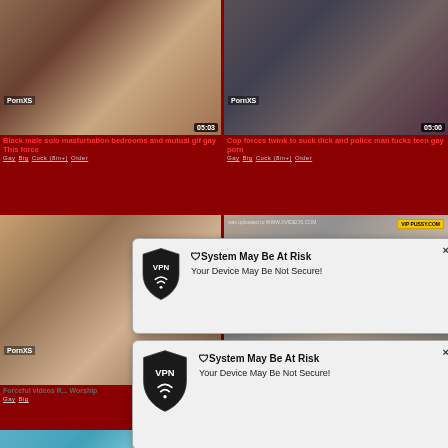[Figure (screenshot): Video thumbnail grid from adult content website with VPN popup overlays showing 'System May Be At Risk - Your Device May Be Not Secure!']
Black male solo masturbation bedrooms and mutual gif gay This force
Gay  Big  Cock (8in+)  Older
Cop forces twink to suck dick and police man fucks teen gay porn
Gay  Big  Cock (8in+)  Older
Forceful  videos R... Worship
Gay  Big
🛡System May Be At Risk
Your Device May Be Not Secure!
🛡System May Be At Risk
Your Device May Be Not Secure!